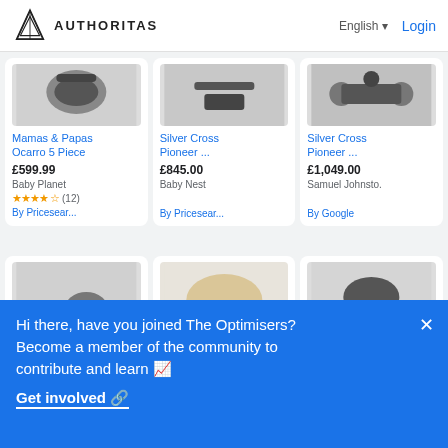AUTHORITAS | English | Login
[Figure (screenshot): Product listing cards row 1: Mamas & Papas Ocarro 5 Piece £599.99 Baby Planet ★★★★☆ (12) By Pricesear...; Silver Cross Pioneer ... £845.00 Baby Nest By Pricesear...; Silver Cross Pioneer ... £1,049.00 Samuel Johnsto. By Google]
[Figure (screenshot): Product listing cards row 2 (partial): Kinderkraft; Silver Cross; Ickle bubba]
Hi there, have you joined The Optimisers? Become a member of the community to contribute and learn 📈
Get involved 🔗